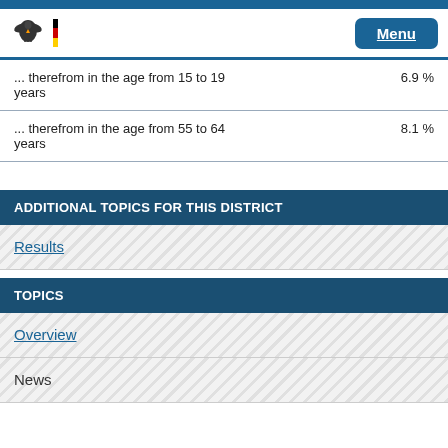Menu
| Description | Value |
| --- | --- |
| ... therefrom in the age from 15 to 19 years | 6.9 % |
| ... therefrom in the age from 55 to 64 years | 8.1 % |
ADDITIONAL TOPICS FOR THIS DISTRICT
Results
TOPICS
Overview
News